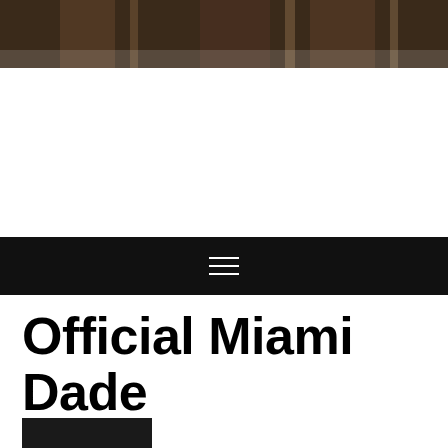[Figure (photo): Photo banner showing a building or campus scene with brown/dark tones, partially visible at top of page]
[Figure (infographic): Black navigation bar with hamburger menu icon (three horizontal lines) centered]
Official Miami Dade College Homepage